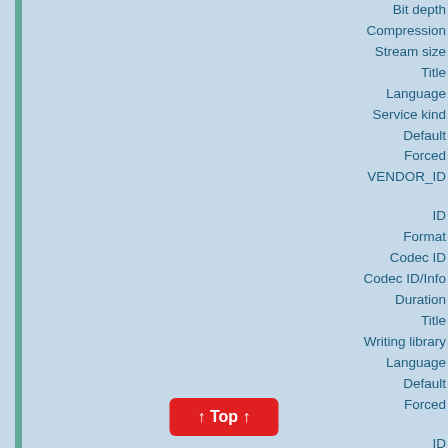Bit depth
Compression
Stream size
Title
Language
Service kind
Default
Forced
VENDOR_ID
ID
Format
Codec ID
Codec ID/Info
Duration
Title
Writing library
Language
Default
Forced
ID
Format
Codec ID
Codec ID/Info
Duration
Title
Writing library
Language
Default
Forced
ID
Format
Codec ID
↑ Top ↑